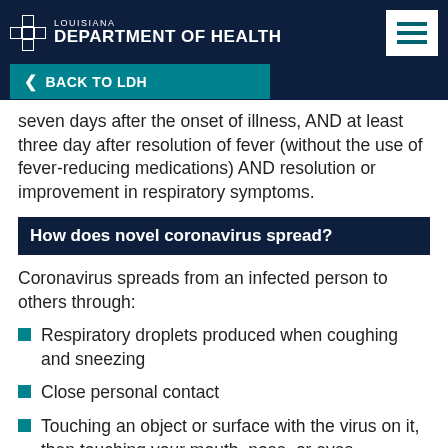LOUISIANA DEPARTMENT OF HEALTH — BACK TO LDH
seven days after the onset of illness, AND at least three day after resolution of fever (without the use of fever-reducing medications) AND resolution or improvement in respiratory symptoms.
How does novel coronavirus spread?
Coronavirus spreads from an infected person to others through:
Respiratory droplets produced when coughing and sneezing
Close personal contact
Touching an object or surface with the virus on it, then touching your mouth, nose, or eyes.